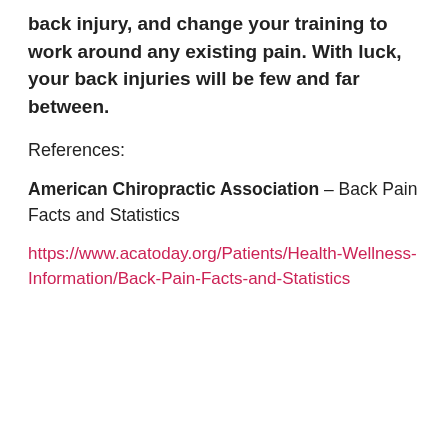back injury, and change your training to work around any existing pain. With luck, your back injuries will be few and far between.
References:
American Chiropractic Association – Back Pain Facts and Statistics
https://www.acatoday.org/Patients/Health-Wellness-Information/Back-Pain-Facts-and-Statistics